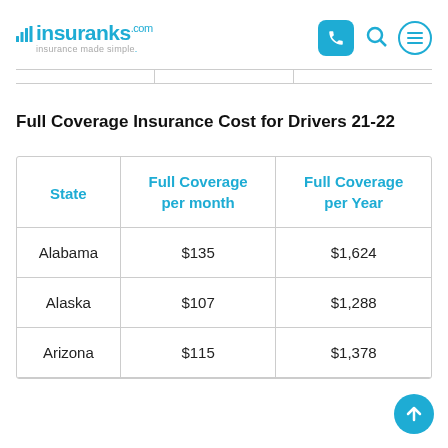insuranks — insurance made simple.
Full Coverage Insurance Cost for Drivers 21-22
| State | Full Coverage per month | Full Coverage per Year |
| --- | --- | --- |
| Alabama | $135 | $1,624 |
| Alaska | $107 | $1,288 |
| Arizona | $115 | $1,378 |